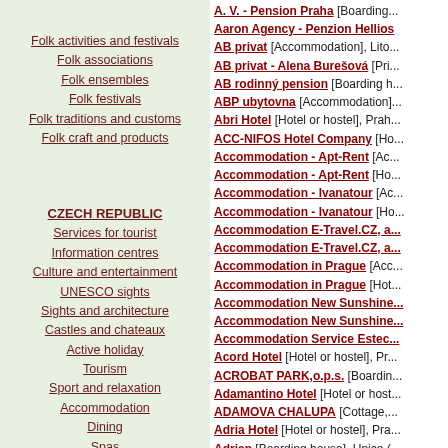Folk activities and festivals
Folk associations
Folk ensembles
Folk festivals
Folk traditions and customs
Folk craft and products
CZECH REPUBLIC
Services for tourist
Information centres
Culture and entertainment
UNESCO sights
Sights and architecture
Castles and chateaux
Active holiday
Tourism
Sport and relaxation
Accommodation
Dining
Spas
Natural points of interest
Protected landscape areas
Caves and abysses
Nature trails
Czech Tourists Club
Travel offices
Tourist activities
A. V. - Pension Praha [Boarding...
Aaron Agency - Penzion Hellios...
AB privat [Accommodation], Lito...
AB privat - Alena Burešová [Pri...
AB rodinný pension [Boarding h...
ABP ubytovna [Accommodation]...
Abri Hotel [Hotel or hostel], Prah...
ACC-NIFOS Hotel Company [Ho...
Accommodation - Apt-Rent [Ac...
Accommodation - Apt-Rent [Ho...
Accommodation - Ivanatour [Ac...
Accommodation - Ivanatour [Ho...
Accommodation E-Travel.CZ, a...
Accommodation E-Travel.CZ, a...
Accommodation in Prague [Acc...
Accommodation in Prague [Hot...
Accommodation New Sunshine...
Accommodation New Sunshine...
Accommodation Service Estec...
Acord Hotel [Hotel or hostel], Pr...
ACROBAT PARK,o.p.s. [Boardin...
Adamantino Hotel [Hotel or host...
ADAMOVA CHALUPA [Cottage,...
Adria Hotel [Hotel or hostel], Pra...
Adrian [Boarding house], Upice (...
Advantage Hostel [Hotel or host...
Agentura Arnika [Accommodatio...
Agentura Rhia - Accommodatio...
Agentura Stop City [Accommod...
Agentura Stop City - Penzion [...
Agro Motel [Hotel or hostel], Kas...
Agropension U Háje [Boarding h...